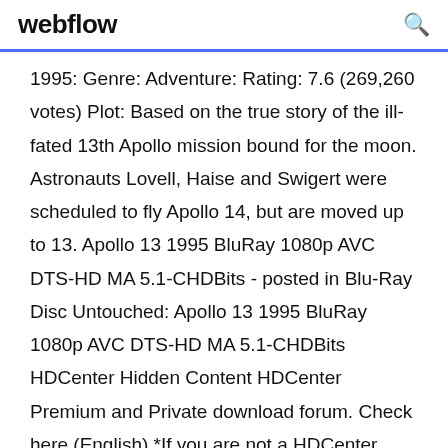webflow
1995: Genre: Adventure: Rating: 7.6 (269,260 votes) Plot: Based on the true story of the ill-fated 13th Apollo mission bound for the moon. Astronauts Lovell, Haise and Swigert were scheduled to fly Apollo 14, but are moved up to 13. Apollo 13 1995 BluRay 1080p AVC DTS-HD MA 5.1-CHDBits - posted in Blu-Ray Disc Untouched: Apollo 13 1995 BluRay 1080p AVC DTS-HD MA 5.1-CHDBits HDCenter Hidden Content HDCenter Premium and Private download forum. Check here (English) *If you are not a HDCenter Premium member, you cannot see premium links. *If you wont buy a Premium account, you wont able to download. Free / Trial download ... August 4, 2020 1